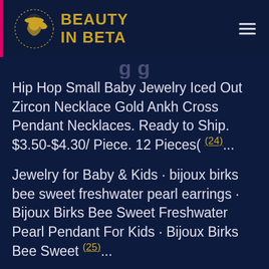BEAUTY IN BETA
Hip Hop Small Baby Jewelry Iced Out Zircon Necklace Gold Ankh Cross Pendant Necklaces. Ready to Ship. $3.50-$4.30/ Piece. 12 Pieces( 24)...
Jewelry for Baby & Kids · bijoux birks bee sweet freshwater pearl earrings · Bijoux Birks Bee Sweet Freshwater Pearl Pendant For Kids · Bijoux Birks Bee Sweet (25)...
As you probably already know, babies